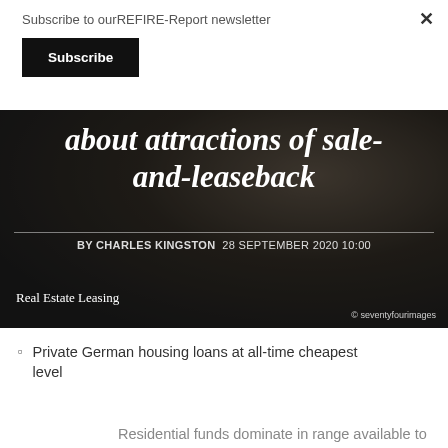Subscribe to ourREFIRE-Report newsletter
Subscribe
[Figure (photo): Dark background photo of a room/interior, used as hero image for article about attractions of sale-and-leaseback]
about attractions of sale-and-leaseback
BY CHARLES KINGSTON  28 SEPTEMBER 2020 10:00
Real Estate Leasing
© seventyfourimages
Private German housing loans at all-time cheapest level
Residential funds dominate in range available to